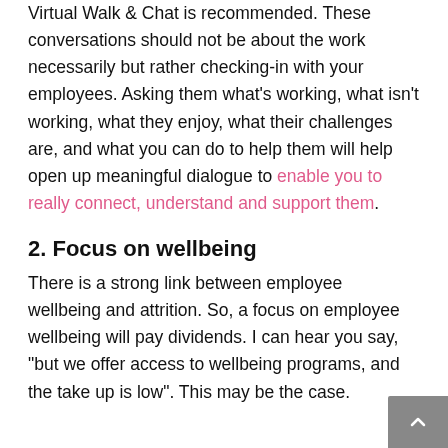Virtual Walk & Chat is recommended. These conversations should not be about the work necessarily but rather checking-in with your employees. Asking them what's working, what isn't working, what they enjoy, what their challenges are, and what you can do to help them will help open up meaningful dialogue to enable you to really connect, understand and support them.
2. Focus on wellbeing
There is a strong link between employee wellbeing and attrition. So, a focus on employee wellbeing will pay dividends. I can hear you say, "but we offer access to wellbeing programs, and the take up is low". This may be the case.